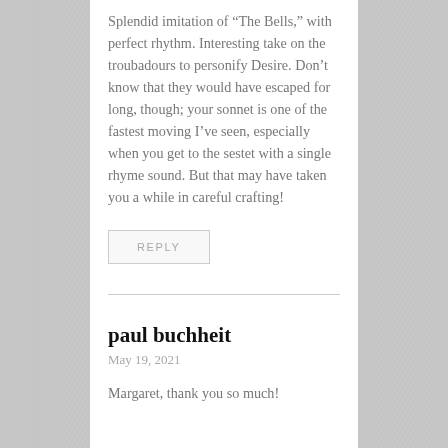Splendid imitation of “The Bells,” with perfect rhythm. Interesting take on the troubadours to personify Desire. Don’t know that they would have escaped for long, though; your sonnet is one of the fastest moving I’ve seen, especially when you get to the sestet with a single rhyme sound. But that may have taken you a while in careful crafting!
REPLY
paul buchheit
May 19, 2021
Margaret, thank you so much!